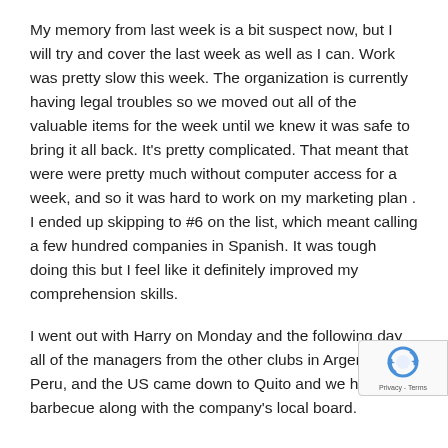My memory from last week is a bit suspect now, but I will try and cover the last week as well as I can. Work was pretty slow this week. The organization is currently having legal troubles so we moved out all of the valuable items for the week until we knew it was safe to bring it all back. It's pretty complicated. That meant that were were pretty much without computer access for a week, and so it was hard to work on my marketing plan . I ended up skipping to #6 on the list, which meant calling a few hundred companies in Spanish. It was tough doing this but I feel like it definitely improved my comprehension skills.
I went out with Harry on Monday and the following day all of the managers from the other clubs in Argentina, Peru, and the US came down to Quito and we had a barbecue along with the company's local board.
[Figure (other): reCAPTCHA badge with Privacy - Terms label]